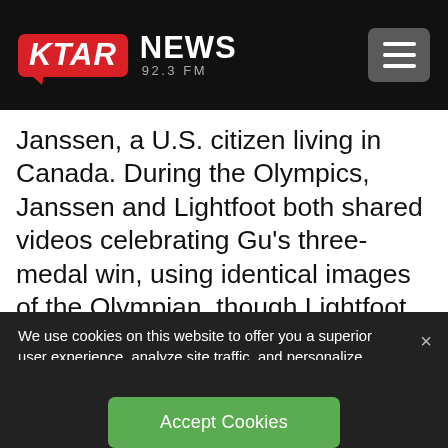[Figure (logo): KTAR News 92.3 FM logo — red rounded rectangle with white italic bold KTAR text and speech bubble tail, followed by white bold NEWS text and grey 92.3 FM subtitle, on black header bar]
Janssen, a U.S. citizen living in Canada. During the Olympics, Janssen and Lightfoot both shared videos celebrating Gu's three-medal win, using identical images of the Olympian, though Lightfoot also poked fun at President Joe Bid…
We use cookies on this website to offer you a superior user experience, analyze site traffic, and personalize content and advertisements. By continuing to use our site, you consent to our use of cookies. Please visit our Privacy Policy for more information.
Accept Cookies